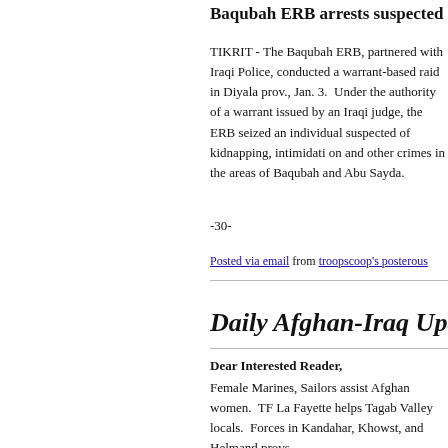Baqubah ERB arrests suspected kidnapper
TIKRIT - The Baqubah ERB, partnered with Iraqi Police, conducted a warrant-based raid in Diyala prov., Jan. 3. Under the authority of a warrant issued by an Iraqi judge, the ERB seized an individual suspected of kidnapping, intimidation and other crimes in the areas of Baqubah and Abu Sayda.
-30-
Posted via email from troopscoop's posterous
Daily Afghan-Iraq Update
Dear Interested Reader,
Female Marines, Sailors assist Afghan women. TF La Fayette helps Tagab Valley locals. Forces in Kandahar, Khowst, and Helmand provs.
Iraq: Red Bulls caught with their hands in Swamp... search al-Khabib graveyard. 209th ASB protects...
Joanna
Afghanistan Stories:
Special to American Forces Press Service
Female Marines, Sailors Assist Afghan Women